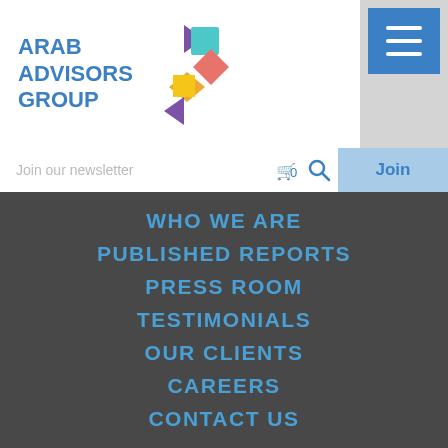[Figure (logo): Arab Advisors Group logo with colorful diamond/arrow shapes]
Join our newsletter
Join
WHO WE ARE
PUBLISHED REPORTS
PRESS ROOM
TESTIMONIALS
OUR CLIENTS
CAREERS
CONTACT US